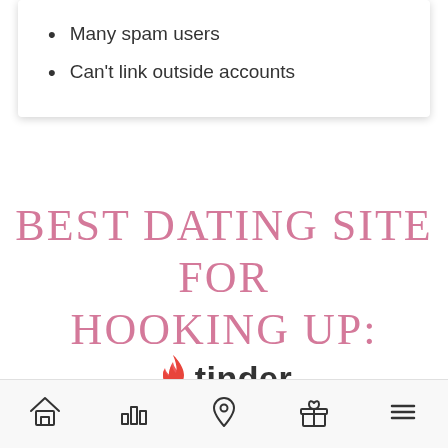Many spam users
Can't link outside accounts
BEST DATING SITE FOR HOOKING UP:
[Figure (logo): Tinder logo with flame icon and 'tinder' text in bold]
[Figure (other): Bottom navigation bar with home, bar chart, location pin, gift box, and hamburger menu icons]